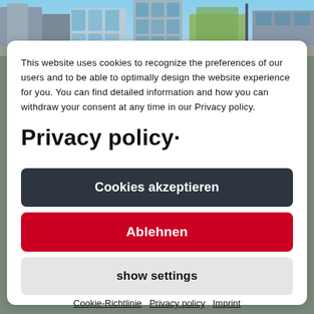[Figure (photo): City street scene with modern buildings, glass facades, and urban environment]
This website uses cookies to recognize the preferences of our users and to be able to optimally design the website experience for you. You can find detailed information and how you can withdraw your consent at any time in our Privacy policy. Privacy policy.
Cookies akzeptieren
Ablehnen
show settings
Cookie-Richtlinie  Privacy policy  Imprint